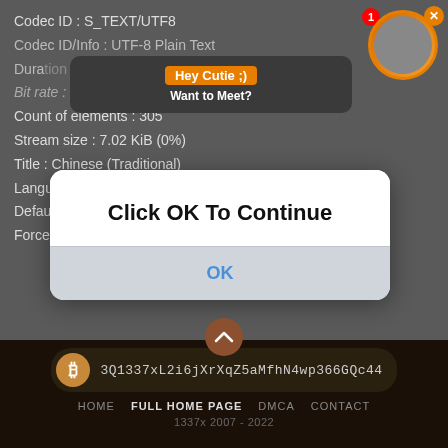Codec ID : S_TEXT/UTF8
Codec ID/Info : UTF-8 Plain Text
Duration : ...
Bit rate : 20 b/s
Count of elements : 305
Stream size : 7.02 KiB (0%)
Title : Chinese (Traditional)
Language : Chinese
Default : No
Forced : No
[Figure (screenshot): Notification popup overlay with dark rounded rectangle showing 'Hey Cutie ;)' in orange button and 'Want to Meet?' in white text, with a circular avatar image and notification badge showing '1', and orange X close button]
[Figure (screenshot): White dialog box overlay with bold text 'Click OK To Continue' and a gray bottom section with blue 'OK' button text]
3Q1337xL2i6jXrXqZ5aMfhN4wp366GQc44
HOME   FULL HOME PAGE   DMCA   CONTACT
1337x 2007 - 2022